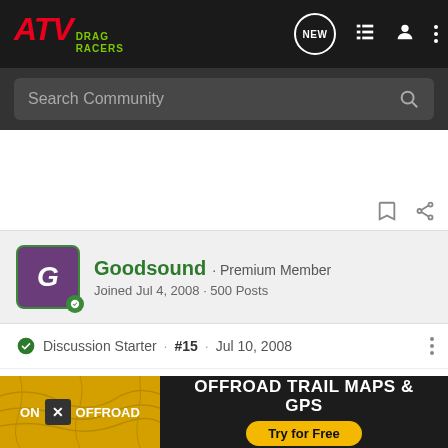ATV DRAG RACERS
Search Community
Goodsound · Premium Member
Joined Jul 4, 2008 · 500 Posts
Discussion Starter · #15 · Jul 10, 2008
I asked this same question on PS in the two stroke section. Its got som
[Figure (screenshot): OFFROAD TRAIL MAPS & GPS ad banner — ON X OFFROAD Try for Free]